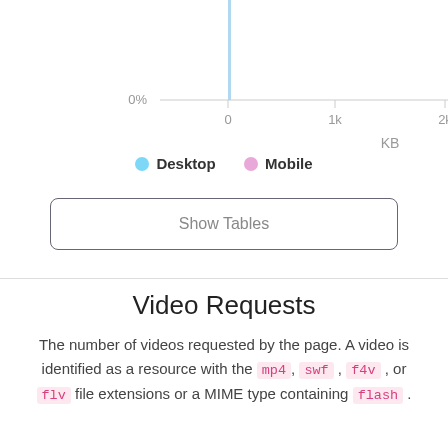[Figure (continuous-plot): Partial chart showing x-axis with labels 0, 1k, 2k, 3k (KB) and y-axis labels 0% and 90%. A vertical line/bar is visible near the top left indicating data. This is the bottom portion of a distribution or line chart for Desktop and Mobile data.]
Desktop  Mobile
Show Tables
Video Requests
The number of videos requested by the page. A video is identified as a resource with the mp4, swf, f4v, or flv file extensions or a MIME type containing flash.